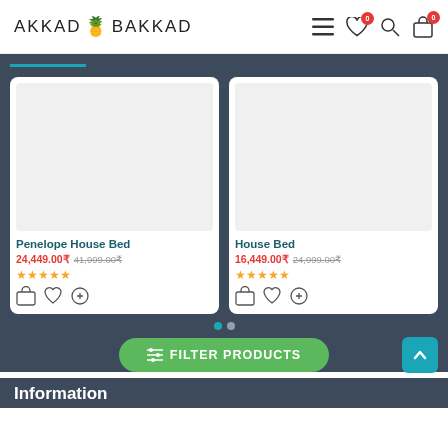AKKAD BAKKAD
[Figure (screenshot): Product card for Penelope House Bed showing white product image area, price 24,449.00₹ with original price 41,999.00₹ struck through, 4-star rating, and action icons]
Penelope House Bed
24,449.00₹  41,999.00₹
[Figure (screenshot): Product card for House Bed showing white product image area, price 16,449.00₹ with original price 24,999.00₹ struck through, 4-star rating, and action icons]
House Bed
16,449.00₹  24,999.00₹
FILTER PRODUCTS
Information